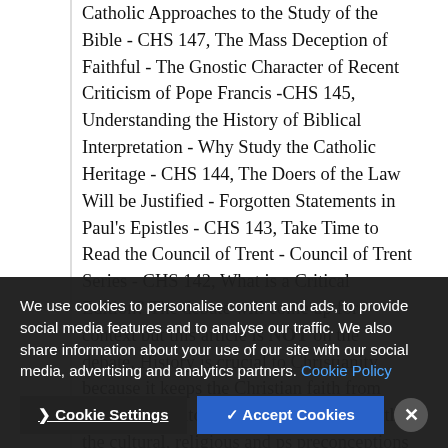Catholic Approaches to the Study of the Bible - CHS 147, The Mass Deception of Faithful - The Gnostic Character of Recent Criticism of Pope Francis -CHS 145, Understanding the History of Biblical Interpretation - Why Study the Catholic Heritage - CHS 144, The Doers of the Law Will be Justified - Forgotten Statements in Paul's Epistles - CHS 143, Take Time to Read the Council of Trent - Council of Trent Series - CHS 142, What is a Critical Edition? The debate will come up for context but this article is NOT on the debate. History is crucial to Christianity because it keeps the Christian faith from... degenerates into educated guesswork, with the cultural, religious and ps... preconceptions and biases of the interpreters
We use cookies to personalise content and ads, to provide social media features and to analyse our traffic. We also share information about your use of our site with our social media, advertising and analytics partners. Cookie Policy